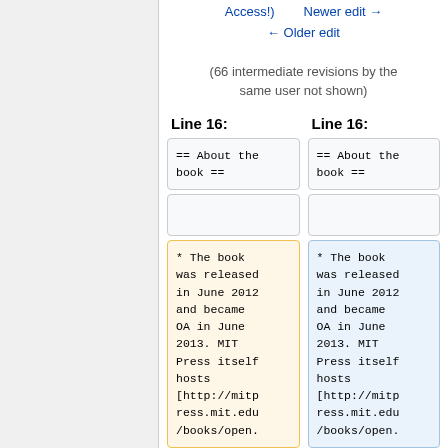← Older edit
(66 intermediate revisions by the same user not shown)
Line 16:
Line 16:
== About the book ==
== About the book ==
* The book was released in June 2012 and became OA in June 2013. MIT Press itself hosts [http://mitp ress.mit.edu /books/open.
* The book was released in June 2012 and became OA in June 2013. MIT Press itself hosts [http://mitp ress.mit.edu /books/open.